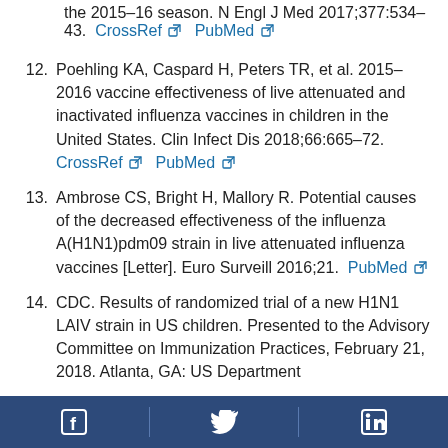(partial) the 2015–16 season. N Engl J Med 2017;377:534–43. CrossRef PubMed
12. Poehling KA, Caspard H, Peters TR, et al. 2015–2016 vaccine effectiveness of live attenuated and inactivated influenza vaccines in children in the United States. Clin Infect Dis 2018;66:665–72. CrossRef PubMed
13. Ambrose CS, Bright H, Mallory R. Potential causes of the decreased effectiveness of the influenza A(H1N1)pdm09 strain in live attenuated influenza vaccines [Letter]. Euro Surveill 2016;21. PubMed
14. CDC. Results of randomized trial of a new H1N1 LAIV strain in US children. Presented to the Advisory Committee on Immunization Practices, February 21, 2018. Atlanta, GA: US Department (partial)
Facebook Twitter LinkedIn